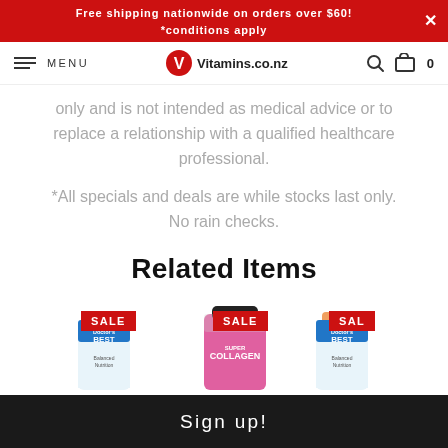Free shipping nationwide on orders over $60! *conditions apply
MENU | Vitamins.co.nz
only and is not intended as medical advice or to replace a relationship with a qualified healthcare professional.
*All specials and deals are while stocks last only. No rain checks.
Related Items
[Figure (photo): Three product items with SALE badges. Two appear to be Doctor's Best supplements and one is a NeoCell Super Collagen product.]